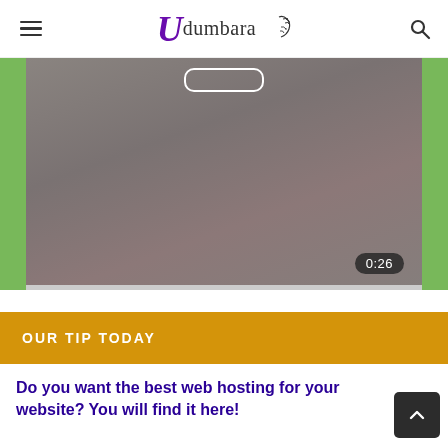Udumbara
[Figure (screenshot): Video player thumbnail showing a blurred/dark brownish-gray image with green borders on left and right, a play bar outline at top center, and a 0:26 timer badge at bottom right]
OUR TIP TODAY
Do you want the best web hosting for your website? You will find it here!